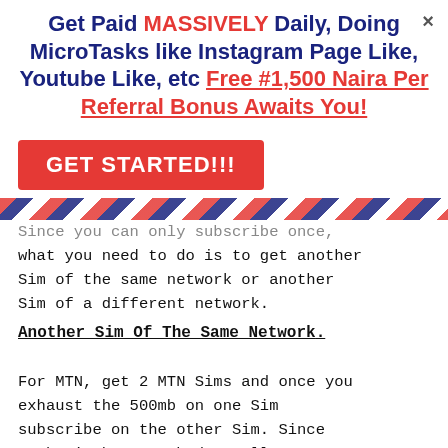Get Paid MASSIVELY Daily, Doing MicroTasks like Instagram Page Like, Youtube Like, etc Free #1,500 Naira Per Referral Bonus Awaits You!
[Figure (other): Red GET STARTED!!! call-to-action button]
[Figure (other): Diagonal red, blue, and white striped decorative border bar]
Since you can only subscribe once, what you need to do is to get another Sim of the same network or another Sim of a different network.
Another Sim Of The Same Network.
For MTN, get 2 MTN Sims and once you exhaust the 500mb on one Sim subscribe on the other Sim. Since each Sim has 500mb data allowance you